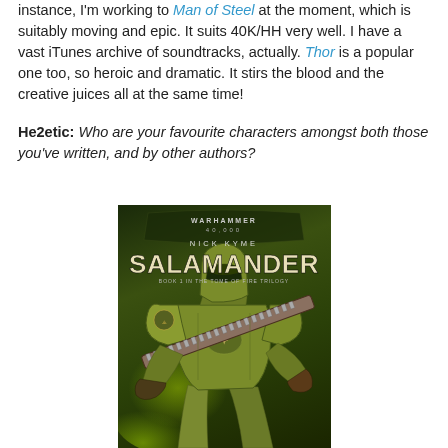instance, I'm working to Man of Steel at the moment, which is suitably moving and epic. It suits 40K/HH very well. I have a vast iTunes archive of soundtracks, actually. Thor is a popular one too, so heroic and dramatic. It stirs the blood and the creative juices all at the same time!
He2etic: Who are your favourite characters amongst both those you've written, and by other authors?
[Figure (photo): Book cover of 'Salamander' by Nick Kyme, a Warhammer 40000 novel. Dark green/olive background with a Space Marine in heavy armor holding a chainsword. Text reads: WARHAMMER 40000, NICK KYME, SALAMANDER, BOOK 1 IN THE TOME OF FIRE TRILOGY.]